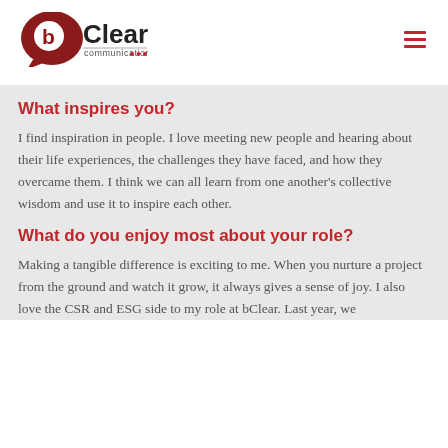[Figure (logo): bClear Communications logo — dark red speech bubble with white 'b', the word 'Clear' in black, 'communications' in smaller text below with three red dots, underline accent]
What inspires you?
I find inspiration in people. I love meeting new people and hearing about their life experiences, the challenges they have faced, and how they overcame them. I think we can all learn from one another's collective wisdom and use it to inspire each other.
What do you enjoy most about your role?
Making a tangible difference is exciting to me. When you nurture a project from the ground and watch it grow, it always gives a sense of joy. I also love the CSR and ESG side to my role at bClear. Last year, we